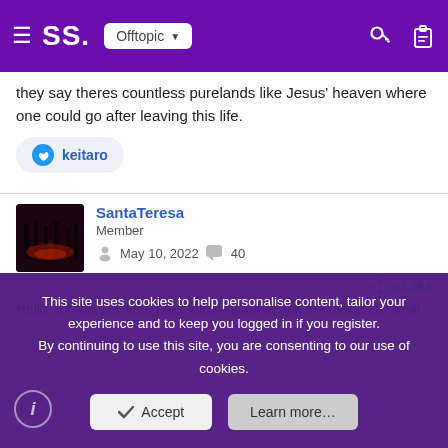SS. Offtopic
they say theres countless purelands like Jesus' heaven where one could go after leaving this life.
keitaro
SantaTeresa
Member
May 10, 2022   40
Jun 4, 2022   #1,164
Hello, for the first time after intro, I want to ask the members what kind of
This site uses cookies to help personalise content, tailor your experience and to keep you logged in if you register.
By continuing to use this site, you are consenting to our use of cookies.